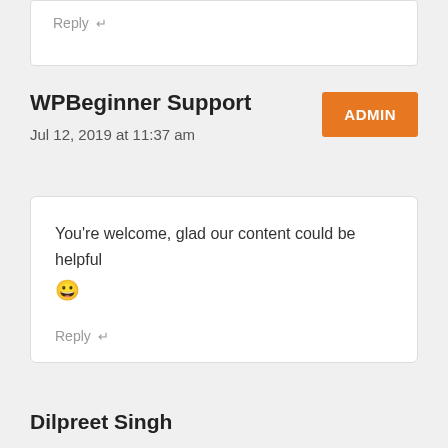Reply ↵
WPBeginner Support
ADMIN
Jul 12, 2019 at 11:37 am
You're welcome, glad our content could be helpful 😀
Reply ↵
Dilpreet Singh